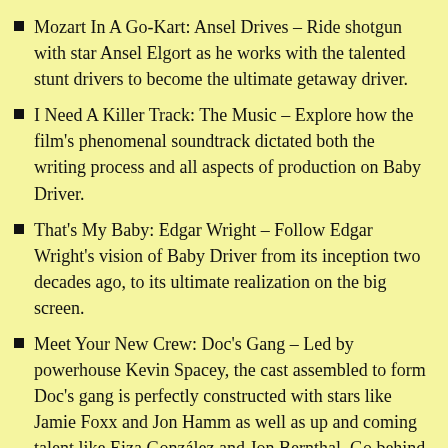Mozart In A Go-Kart: Ansel Drives – Ride shotgun with star Ansel Elgort as he works with the talented stunt drivers to become the ultimate getaway driver.
I Need A Killer Track: The Music – Explore how the film's phenomenal soundtrack dictated both the writing process and all aspects of production on Baby Driver.
That's My Baby: Edgar Wright – Follow Edgar Wright's vision of Baby Driver from its inception two decades ago, to its ultimate realization on the big screen.
Meet Your New Crew: Doc's Gang – Led by powerhouse Kevin Spacey, the cast assembled to form Doc's gang is perfectly constructed with stars like Jamie Foxx and Jon Hamm as well as up and coming talent like Eiza González and Jon Bernthal. Go behind the scenes to see this talented group at work as they bring these characters to life.
Find Something Funky On There: The Choreography – With every frame of Baby Driver set to a specific beat it took precise choreography by the cast, crew and editors to